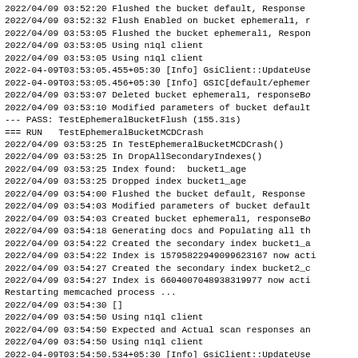2022/04/09 03:52:20 Flushed the bucket default, Response
2022/04/09 03:52:32 Flush Enabled on bucket ephemeral1, r
2022/04/09 03:53:05 Flushed the bucket ephemeral1, Respon
2022/04/09 03:53:05 Using n1ql client
2022/04/09 03:53:05 Using n1ql client
2022-04-09T03:53:05.455+05:30 [Info] GsiClient::UpdateUse
2022-04-09T03:53:05.456+05:30 [Info] GSIC[default/ephemer
2022/04/09 03:53:07 Deleted bucket ephemeral1, responseBo
2022/04/09 03:53:10 Modified parameters of bucket default
--- PASS: TestEphemeralBucketFlush (155.31s)
=== RUN   TestEphemeralBucketMCDCrash
2022/04/09 03:53:25 In TestEphemeralBucketMCDCrash()
2022/04/09 03:53:25 In DropAllSecondaryIndexes()
2022/04/09 03:53:25 Index found:  bucket1_age
2022/04/09 03:53:25 Dropped index bucket1_age
2022/04/09 03:54:00 Flushed the bucket default, Response
2022/04/09 03:54:03 Modified parameters of bucket default
2022/04/09 03:54:03 Created bucket ephemeral1, responseBo
2022/04/09 03:54:18 Generating docs and Populating all th
2022/04/09 03:54:22 Created the secondary index bucket1_a
2022/04/09 03:54:22 Index is 15795822949099623167 now acti
2022/04/09 03:54:27 Created the secondary index bucket2_c
2022/04/09 03:54:27 Index is 6604007048938319977 now acti
Restarting memcached process ...
2022/04/09 03:54:30 []
2022/04/09 03:54:50 Using n1ql client
2022/04/09 03:54:50 Expected and Actual scan responses an
2022/04/09 03:54:50 Using n1ql client
2022-04-09T03:54:50.534+05:30 [Info] GsiClient::UpdateUse
2022-04-09T03:54:50.534+05:30 [Info] GSIC[default/ephemer
2022/04/09 03:54:51 Deleted bucket ephemeral1, responseB